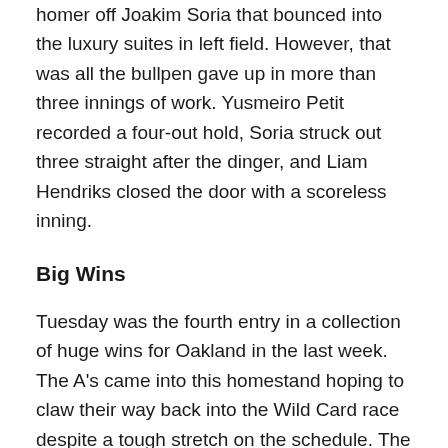homer off Joakim Soria that bounced into the luxury suites in left field. However, that was all the bullpen gave up in more than three innings of work. Yusmeiro Petit recorded a four-out hold, Soria struck out three straight after the dinger, and Liam Hendriks closed the door with a scoreless inning.
Big Wins
Tuesday was the fourth entry in a collection of huge wins for Oakland in the last week. The A's came into this homestand hoping to claw their way back into the Wild Card race despite a tough stretch on the schedule. The A's managed to take three of four against the Astros and have started off the Yankees series with a win. They have also managed to tie the Rays for the second Wild Card spot. Oakland's